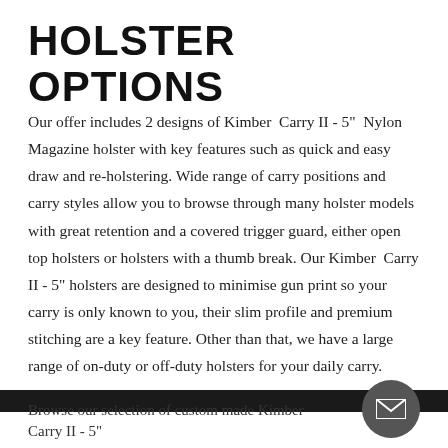HOLSTER OPTIONS
Our offer includes 2 designs of Kimber Carry II - 5" Nylon Magazine holster with key features such as quick and easy draw and re-holstering. Wide range of carry positions and carry styles allow you to browse through many holster models with great retention and a covered trigger guard, either open top holsters or holsters with a thumb break. Our Kimber Carry II - 5" holsters are designed to minimise gun print so your carry is only known to you, their slim profile and premium stitching are a key feature. Other than that, we have a large range of on-duty or off-duty holsters for your daily carry.
Browse our selection of custom made Kimber Carry II - 5"